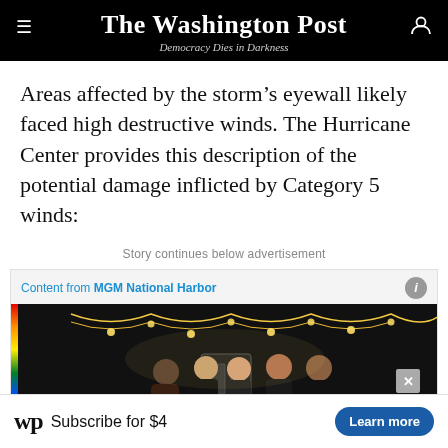The Washington Post — Democracy Dies in Darkness
Areas affected by the storm's eyewall likely faced high destructive winds. The Hurricane Center provides this description of the potential damage inflicted by Category 5 winds:
Story continues below advertisement
Content from MGM National Harbor
[Figure (photo): Advertisement photo from MGM National Harbor showing a group of people standing in front of an entertainment venue with string lights overhead]
Subscribe for $4 — Learn more (Washington Post subscription advertisement)